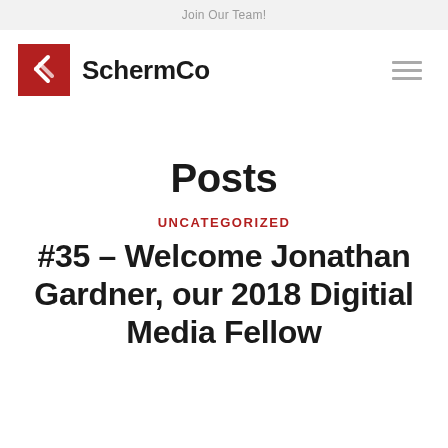Join Our Team!
[Figure (logo): SchermCo logo: red square with white S-shaped arrow icon, followed by 'SchermCo' in bold dark text, hamburger menu icon on the right]
Posts
UNCATEGORIZED
#35 – Welcome Jonathan Gardner, our 2018 Digitial Media Fellow